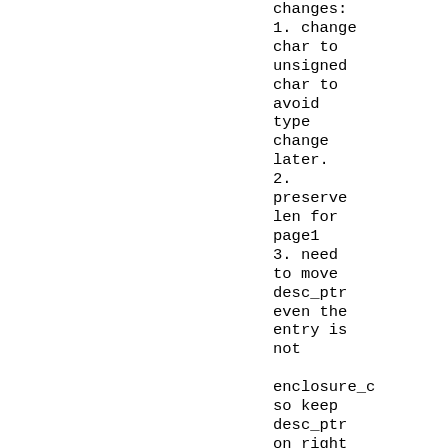changes:
1. change char to unsigned char to avoid type change later.
2. preserve len for page1
3. need to move desc_ptr even the entry is not

enclosure_c
so keep desc_ptr on right

position
4. also record page7 len, and add...